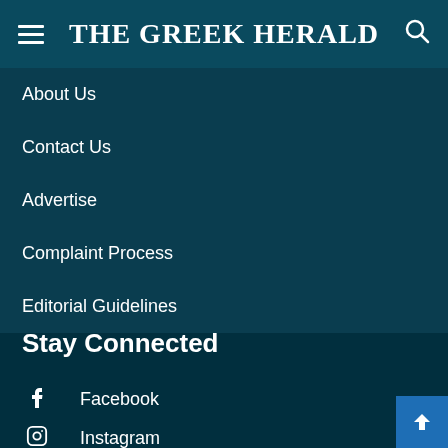THE GREEK HERALD
About Us
Contact Us
Advertise
Complaint Process
Editorial Guidelines
Stay Connected
Facebook
Instagram
LinkedIn